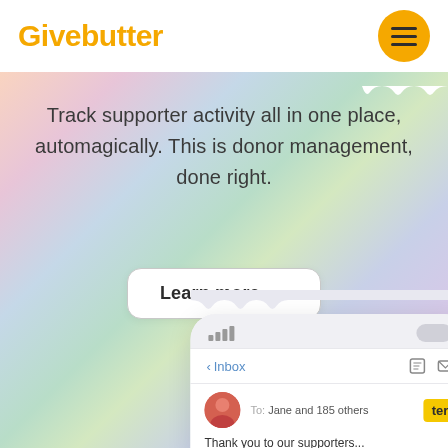Givebutter
Track supporter activity all in one place, automagically. This is donor management, done right.
Learn more →
[Figure (screenshot): Mobile phone mockup showing an email inbox screen with 'Inbox' navigation, a message addressed 'To: Jane and 185 others', and partial text 'Thank you to our supporters!']